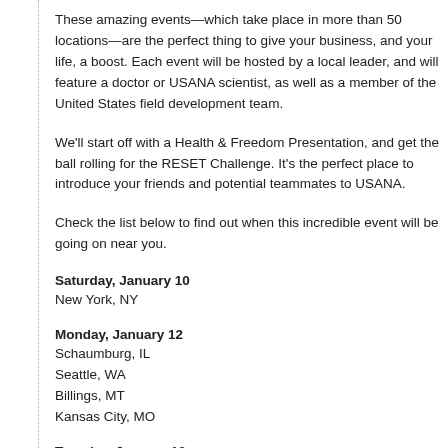These amazing events—which take place in more than 50 locations—are the perfect thing to give your business, and your life, a boost. Each event will be hosted by a local leader, and will feature a doctor or USANA scientist, as well as a member of the United States field development team.
We'll start off with a Health & Freedom Presentation, and get the ball rolling for the RESET Challenge. It's the perfect place to introduce your friends and potential teammates to USANA.
Check the list below to find out when this incredible event will be going on near you.
Saturday, January 10
New York, NY
Monday, January 12
Schaumburg, IL
Seattle, WA
Billings, MT
Kansas City, MO
Tuesday, January 13